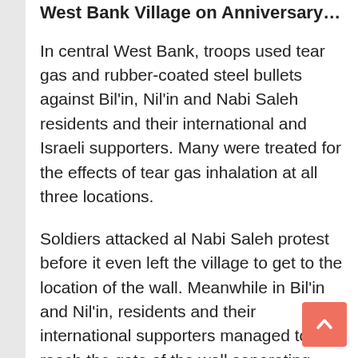West Bank Village on Anniversary…
In central West Bank, troops used tear gas and rubber-coated steel bullets against Bil'in, Nil'in and Nabi Saleh residents and their international and Israeli supporters. Many were treated for the effects of tear gas inhalation at all three locations.
Soldiers attacked al Nabi Saleh protest before it even left the village to get to the location of the wall. Meanwhile in Bil'in and Nil'in, residents and their international supporters managed to reach the gate of the wall separating local farmers from their lands.
Elsewhere on Friday, in southern West Bank, Al Ma'sara villagers organized their weekly anti